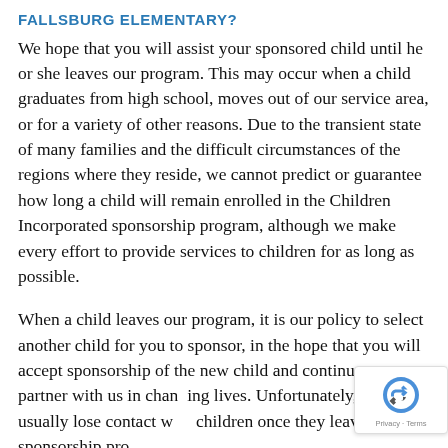FALLSBURG ELEMENTARY?
We hope that you will assist your sponsored child until he or she leaves our program. This may occur when a child graduates from high school, moves out of our service area, or for a variety of other reasons. Due to the transient state of many families and the difficult circumstances of the regions where they reside, we cannot predict or guarantee how long a child will remain enrolled in the Children Incorporated sponsorship program, although we make every effort to provide services to children for as long as possible.
When a child leaves our program, it is our policy to select another child for you to sponsor, in the hope that you will accept sponsorship of the new child and continue to partner with us in changing lives. Unfortunately, we usually lose contact with children once they leave the sponsorship program...